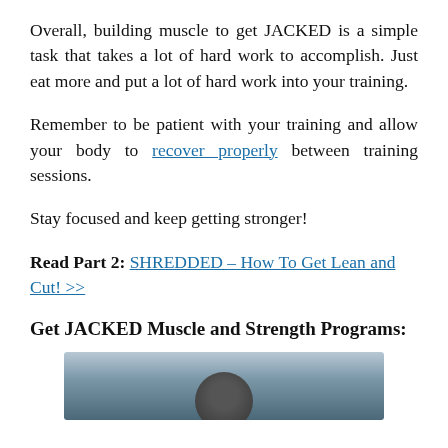Overall, building muscle to get JACKED is a simple task that takes a lot of hard work to accomplish. Just eat more and put a lot of hard work into your training.
Remember to be patient with your training and allow your body to recover properly between training sessions.
Stay focused and keep getting stronger!
Read Part 2: SHREDDED – How To Get Lean and Cut! >>
Get JACKED Muscle and Strength Programs:
[Figure (photo): Partial photo of a person in a gym, showing the top of their head; grayscale/blue-toned image cropped at bottom of page.]